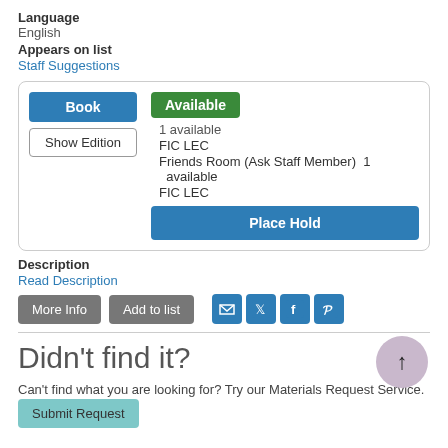Language
English
Appears on list
Staff Suggestions
Book
Show Edition
Available
1 available
FIC LEC
Friends Room (Ask Staff Member)  1 available
FIC LEC
Place Hold
Description
Read Description
More Info
Add to list
Didn't find it?
Can't find what you are looking for? Try our Materials Request Service.
Submit Request